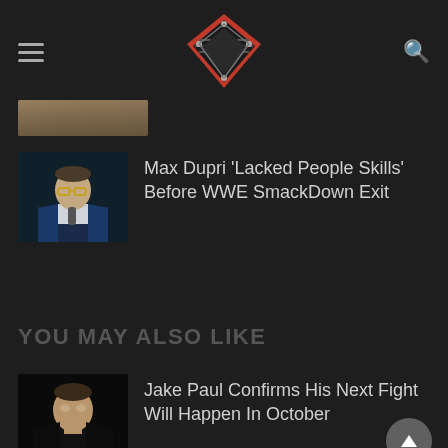Wrestling news site header with hamburger menu, logo, and search icon
[Figure (photo): Partially visible article thumbnail at top]
[Figure (photo): Max Dupri article thumbnail - man in suit with glasses and microphone]
Max Dupri 'Lacked People Skills' Before WWE SmackDown Exit
YOU MAY ALSO LIKE
[Figure (photo): Jake Paul article thumbnail - man in dark jacket]
Jake Paul Confirms His Next Fight Will Happen In October